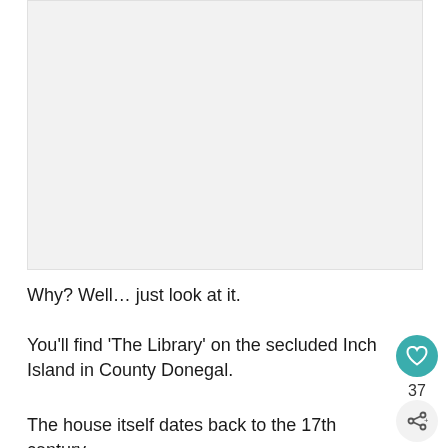[Figure (photo): Large image placeholder with light gray background, appears to be a property or landscape photo]
Why? Well… just look at it.
You'll find 'The Library' on the secluded Inch Island in County Donegal.
The house itself dates back to the 17th century